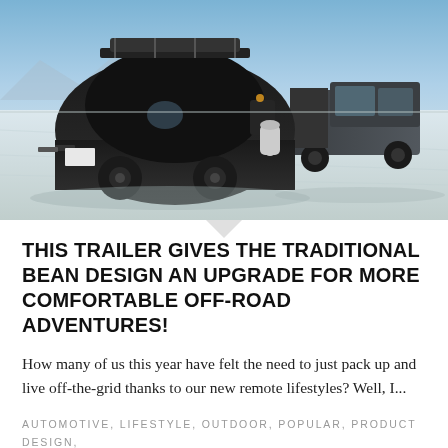[Figure (photo): A black teardrop-style off-road travel trailer being towed by a dark gray pickup truck across a flat white salt flat under a blue sky. The trailer has a rounded aerodynamic shell, roof rack, and a propane tank mounted on the rear. Mountains are faintly visible in the background.]
THIS TRAILER GIVES THE TRADITIONAL BEAN DESIGN AN UPGRADE FOR MORE COMFORTABLE OFF-ROAD ADVENTURES!
How many of us this year have felt the need to just pack up and live off-the-grid thanks to our new remote lifestyles? Well, I...
AUTOMOTIVE, LIFESTYLE, OUTDOOR, POPULAR, PRODUCT DESIGN, TRAVEL